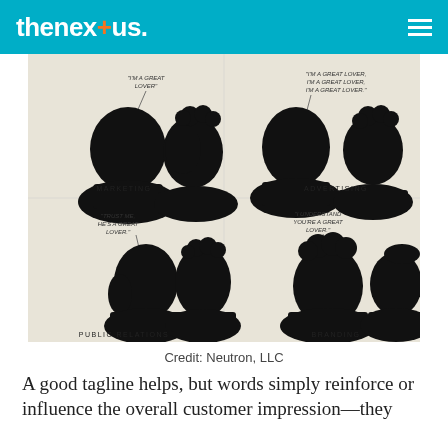thenex+us
[Figure (infographic): Four quadrant infographic with silhouette head pairs illustrating Marketing, Advertising, Public Relations, and Branding. Marketing: one head saying 'I'M A GREAT LOVER'. Advertising: one head saying 'I'M A GREAT LOVER, I'M A GREAT LOVER, I'M A GREAT LOVER'. Public Relations: third party head saying 'TRUST ME, HE'S A GREAT LOVER'. Branding: recipient head saying 'I UNDERSTAND YOU'RE A GREAT LOVER'.]
Credit: Neutron, LLC
A good tagline helps, but words simply reinforce or influence the overall customer impression—they